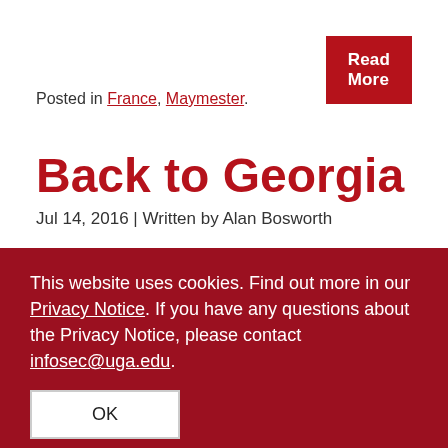Read More
Posted in France, Maymester.
Back to Georgia
Jul 14, 2016 | Written by Alan Bosworth
There’s not a better way to end a study abroad than spending the last week in the Galapagos. The entire trip
This website uses cookies. Find out more in our Privacy Notice. If you have any questions about the Privacy Notice, please contact infosec@uga.edu.
OK